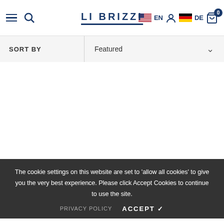LI BRIZZI — EN | DE — navigation header with hamburger menu, search, user, cart
SORT BY   Featured
The cookie settings on this website are set to 'allow all cookies' to give you the very best experience. Please click Accept Cookies to continue to use the site.
PRIVACY POLICY   ACCEPT ✓
Anacapri   Arezzo
€89.00   €89.00
Shop   Cart 0   My Account